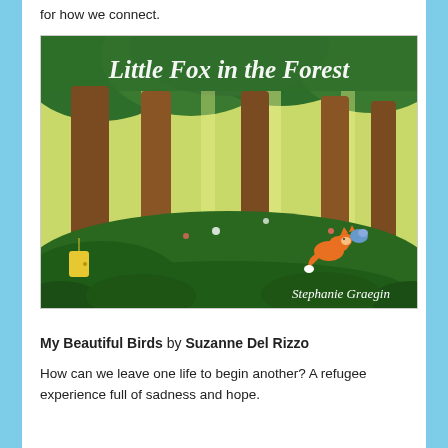for how we connect.
[Figure (illustration): Book cover of 'Little Fox in the Forest' by Stephanie Graegin. Shows a whimsical forest scene with large trees, green foliage, a small orange fox running, and a tiny yellow door at the base of a tree. Title in white handwritten script at top.]
My Beautiful Birds by Suzanne Del Rizzo
How can we leave one life to begin another? A refugee experience full of sadness and hope.